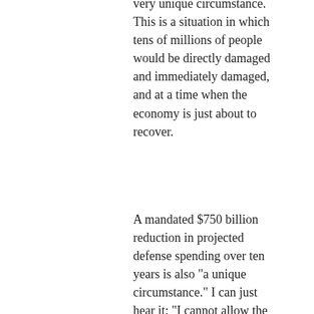very unique circumstance. This is a situation in which tens of millions of people would be directly damaged and immediately damaged, and at a time when the economy is just about to recover.
A mandated $750 billion reduction in projected defense spending over ten years is also "a unique circumstance." I can just hear it: "I cannot allow the security of the United States to be compromised..."
Wrong!  While Panetta forms a contrapuntal-but-harmonious* chorus warning that the "sequestered" cuts would "tear a seam in the nation's defense," Obama has declared that he's perfectly ready to let those cuts go forward if Congress does not replace the automatic cuts with a "balanced" plan for equivalent or greater reduction. That's a two-fer: he is trying to make Republicans feel the brunt of the pressure to avoid a) the sequestered defense cuts and b) the expiration of all the Bush tax cuts. Now his own counterproposal comes into play: $1.5 trillion in new revenue